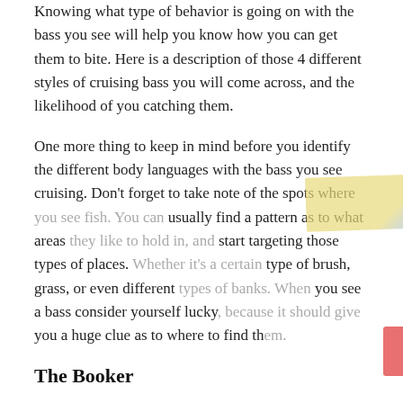Knowing what type of behavior is going on with the bass you see will help you know how you can get them to bite. Here is a description of those 4 different styles of cruising bass you will come across, and the likelihood of you catching them.
One more thing to keep in mind before you identify the different body languages with the bass you see cruising. Don't forget to take note of the spots where you see fish. You can usually find a pattern as to what areas they like to hold in, and start targeting those types of places. Whether it's a certain type of brush, grass, or even different types of banks. When you see a bass consider yourself lucky, because it should give you a huge clue as to where to find them.
The Booker
The booker is the bass you see "Booking" out of cover, or swimming really fast as if it had been spooked. This type of